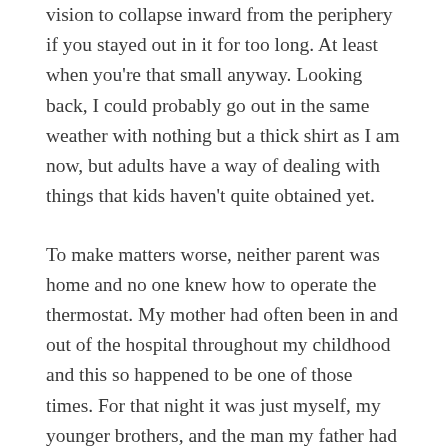vision to collapse inward from the periphery if you stayed out in it for too long. At least when you're that small anyway. Looking back, I could probably go out in the same weather with nothing but a thick shirt as I am now, but adults have a way of dealing with things that kids haven't quite obtained yet.
To make matters worse, neither parent was home and no one knew how to operate the thermostat. My mother had often been in and out of the hospital throughout my childhood and this so happened to be one of those times. For that night it was just myself, my younger brothers, and the man my father had left us with already passed out drunk on the living room sofa. He had been a friend of the family simply due to the nature that he happened to live across the street at the time and for any other reason was beyond me. I recall that we thought it was rad at the time whenever he watched us for the night because he would let go wild and ravage the pantry for whatever we